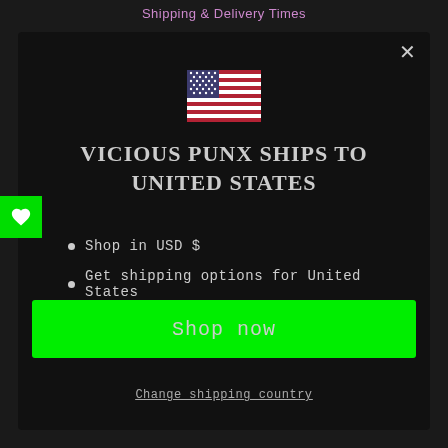Shipping & Delivery Times
[Figure (screenshot): A popup modal on a dark background showing the US flag emoji, text 'VICIOUS PUNX SHIPS TO UNITED STATES', bullet points about USD and shipping options, a bright green 'Shop now' button, and a 'Change shipping country' link. A green wishlist heart button appears on the left edge.]
VICIOUS PUNX SHIPS TO UNITED STATES
Shop in USD $
Get shipping options for United States
Shop now
Change shipping country